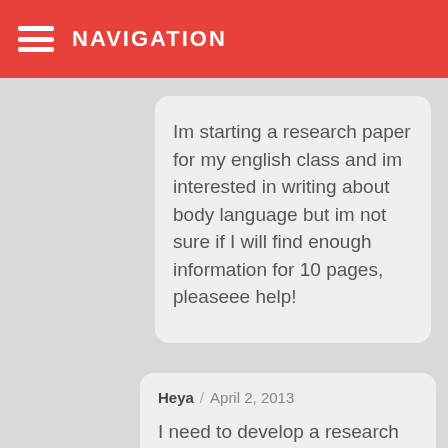NAVIGATION
Im starting a research paper for my english class and im interested in writing about body language but im not sure if I will find enough information for 10 pages, pleaseee help!
Heya / April 2, 2013
I need to develop a research proposal in response to a